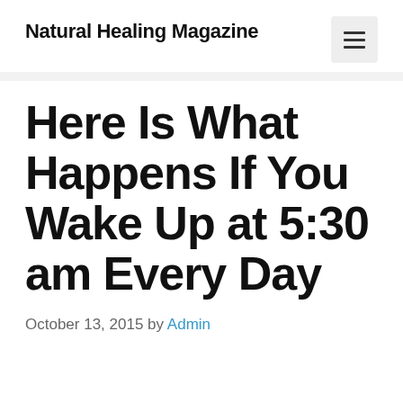Natural Healing Magazine
Here Is What Happens If You Wake Up at 5:30 am Every Day
October 13, 2015 by Admin